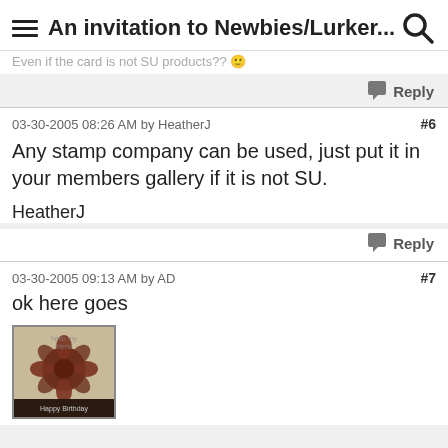An invitation to Newbies/Lurker...
Even if the card is not SU products?? 😊
Reply
03-30-2005 08:26 AM by HeatherJ  #6
Any stamp company can be used, just put it in your members gallery if it is not SU.
HeatherJ
Reply
03-30-2005 09:13 AM by AD  #7
ok here goes
[Figure (photo): A handmade greeting card with a dark floral design, featuring text that reads something like 'hello my friend', with a decorative flower stamp in dark red/brown tones on a mixed background.]